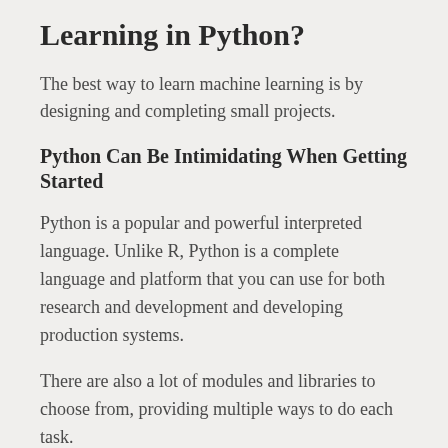Learning in Python?
The best way to learn machine learning is by designing and completing small projects.
Python Can Be Intimidating When Getting Started
Python is a popular and powerful interpreted language. Unlike R, Python is a complete language and platform that you can use for both research and development and developing production systems.
There are also a lot of modules and libraries to choose from, providing multiple ways to do each task.